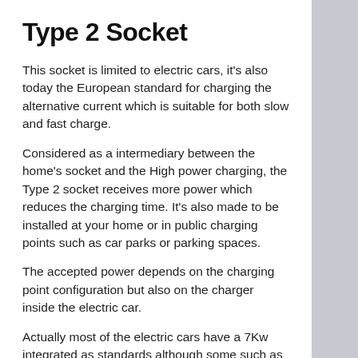Type 2 Socket
This socket is limited to electric cars, it's also today the European standard for charging the alternative current which is suitable for both slow and fast charge.
Considered as a intermediary between the home's socket and the High power charging, the Type 2 socket receives more power which reduces the charging time. It's also made to be installed at your home or in public charging points such as car parks or parking spaces.
The accepted power depends on the charging point configuration but also on the charger inside the electric car.
Actually most of the electric cars have a 7Kw integrated as standards although some such as the Renault ZOE accept up to 22Kw.
The Type 2 Socket is also used for the rapid charge.
Tesla also uses type 2 socket  standard configuration on its superchargers network. Used for Model S and Model X, it